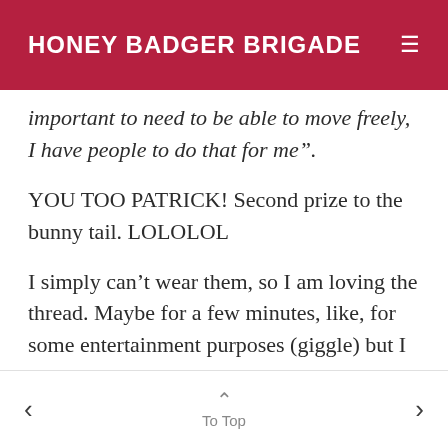HONEY BADGER BRIGADE
important to need to be able to move freely, I have people to do that for me".
YOU TOO PATRICK! Second prize to the bunny tail. LOLOLOL
I simply can’t wear them, so I am loving the thread. Maybe for a few minutes, like, for some entertainment purposes (giggle) but I wouldn’t wear them OUT anywhere. That would be dangerous! LOL
To Top